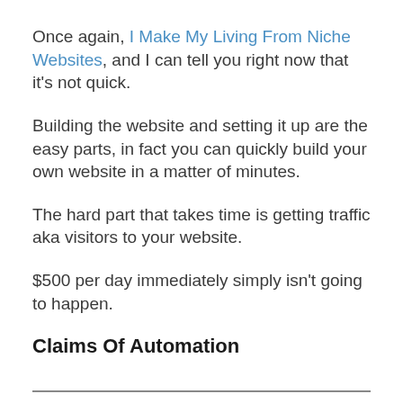Once again, I Make My Living From Niche Websites, and I can tell you right now that it's not quick.
Building the website and setting it up are the easy parts, in fact you can quickly build your own website in a matter of minutes.
The hard part that takes time is getting traffic aka visitors to your website.
$500 per day immediately simply isn't going to happen.
Claims Of Automation